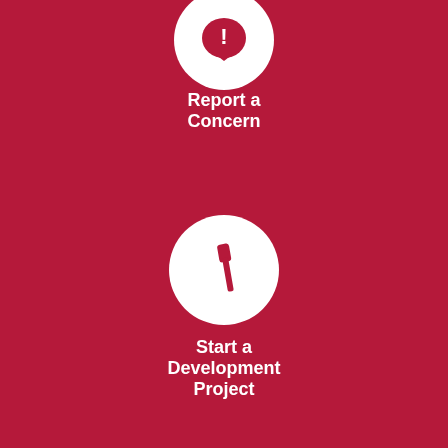[Figure (infographic): White circle icon with red exclamation mark in speech bubble, labeled 'Report a Concern']
Report a Concern
[Figure (infographic): White circle icon with red hammer/tool, labeled 'Start a Development Project']
Start a Development Project
[Figure (screenshot): Google Translate Select Language widget]
[Figure (infographic): White circle icon with red envelope/mail symbol, labeled 'Notify Me®']
Notify Me®
[Figure (infographic): White circle icon with LIVE TV monitor symbol, labeled 'Watch Live']
Watch Live